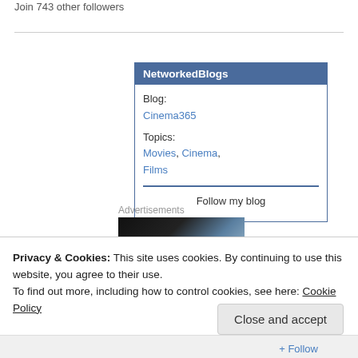Join 743 other followers
[Figure (screenshot): NetworkedBlogs widget showing Blog: Cinema365, Topics: Movies, Cinema, Films, with Follow my blog button]
Advertisements
[Figure (photo): Dark advertisement image with gradient from black to blue-grey]
Privacy & Cookies: This site uses cookies. By continuing to use this website, you agree to their use.
To find out more, including how to control cookies, see here: Cookie Policy
Close and accept